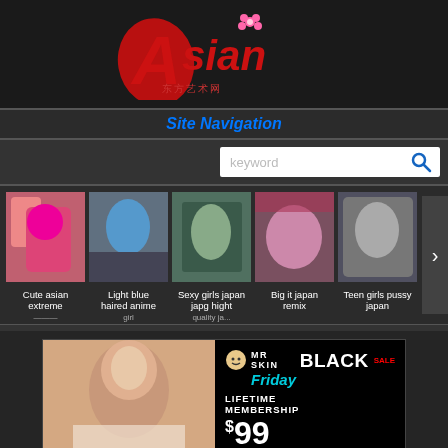[Figure (logo): Asian website logo with red stylized 'A' and 'sian' text in red with a pink flower, subtitle text below]
Site Navigation
[Figure (screenshot): Search bar with keyword placeholder and blue magnifying glass icon]
[Figure (photo): Row of 5 thumbnail images with captions: Cute asian extreme, Light blue haired anime girl, Sexy girls japan japg hight quality ja..., Big it japan remix, Teen girls pussy japan]
[Figure (photo): Advertisement banner: MR SKIN BLACK Friday SALE - LIFETIME MEMBERSHIP $99]
Sexy anime booty